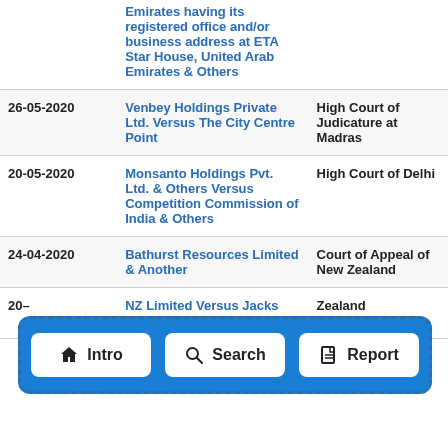| Date | Case | Court |
| --- | --- | --- |
|  | Emirates having its registered office and/or business address at ETA Star House, United Arab Emirates & Others |  |
| 26-05-2020 | Venbey Holdings Private Ltd. Versus The City Centre Point | High Court of Judicature at Madras |
| 20-05-2020 | Monsanto Holdings Pvt. Ltd. & Others Versus Competition Commission of India & Others | High Court of Delhi |
| 24-04-2020 | Bathurst Resources Limited & Another | Court of Appeal of New Zealand |
| 20- | NZ Limited Versus Jacks Point Village | Zealand |
[Figure (infographic): Navigation bar overlay with three buttons: Intro (home icon), Search (magnifier icon), Report (document icon). Blue dashed border background.]